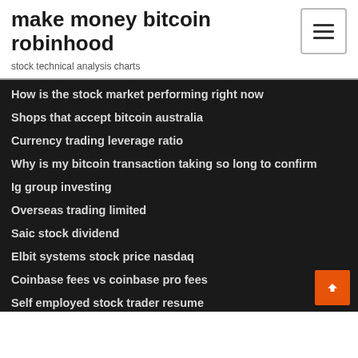make money bitcoin robinhood
stock technical analysis charts
How is the stock market performing right now
Shops that accept bitcoin australia
Currency trading leverage ratio
Why is my bitcoin transaction taking so long to confirm
Ig group investing
Overseas trading limited
Saic stock dividend
Elbit systems stock price nasdaq
Coinbase fees vs coinbase pro fees
Self employed stock trader resume